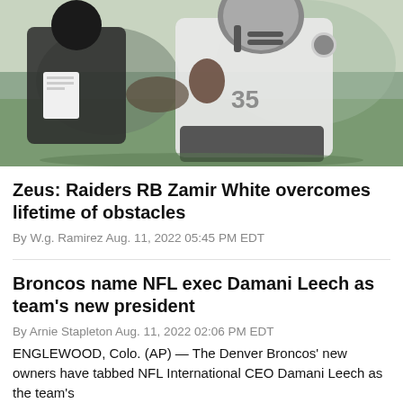[Figure (photo): A football player in a white Raiders jersey running during practice, interacting with a coach in a black jacket holding papers.]
Zeus: Raiders RB Zamir White overcomes lifetime of obstacles
By W.g. Ramirez Aug. 11, 2022 05:45 PM EDT
Broncos name NFL exec Damani Leech as team's new president
By Arnie Stapleton Aug. 11, 2022 02:06 PM EDT
ENGLEWOOD, Colo. (AP) — The Denver Broncos' new owners have tabbed NFL International CEO Damani Leech as the team's